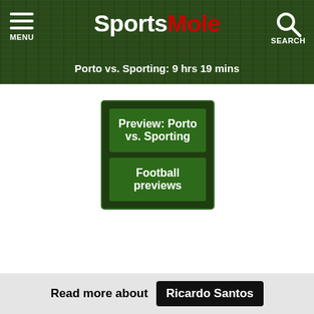Sports Mole — Porto vs. Sporting: 9 hrs 19 mins
Preview: Porto vs. Sporting
Football previews
Read more about Ricardo Santos